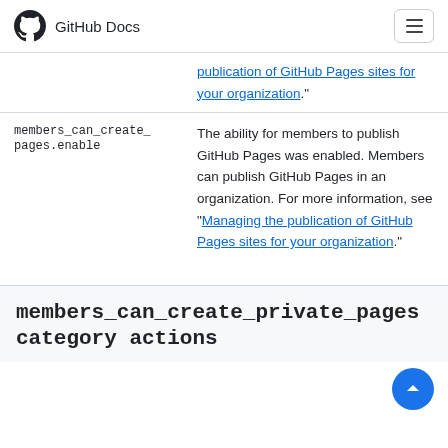GitHub Docs
| Action | Description |
| --- | --- |
| (continued link) | Managing the publication of GitHub Pages sites for your organization." |
| members_can_create_pages.enable | The ability for members to publish GitHub Pages was enabled. Members can publish GitHub Pages in an organization. For more information, see "Managing the publication of GitHub Pages sites for your organization." |
members_can_create_private_pages category actions